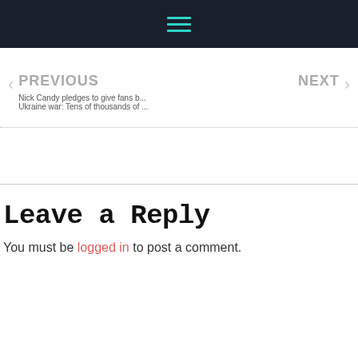Navigation header with hamburger menu icon
PREVIOUS - Nick Candy pledges to give fans b...
NEXT - Ukraine war: Tens of thousands of ...
Leave a Reply
You must be logged in to post a comment.